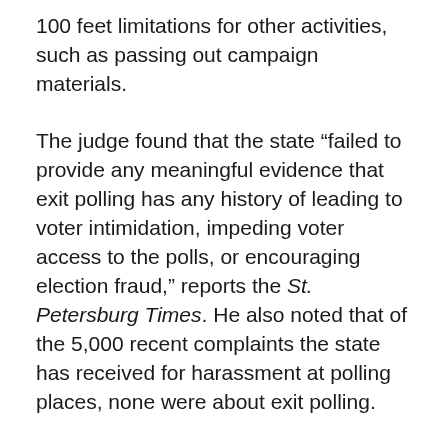100 feet limitations for other activities, such as passing out campaign materials.
The judge found that the state “failed to provide any meaningful evidence that exit polling has any history of leading to voter intimidation, impeding voter access to the polls, or encouraging election fraud,” reports the St. Petersburg Times. He also noted that of the 5,000 recent complaints the state has received for harassment at polling places, none were about exit polling.
Similar bans on exit polling have been overturned in Wyoming, Ohio, Washington, Montana, Minnesota, Kentucky, and Georgia, according to the New York Times and the Palm Beach Post. A